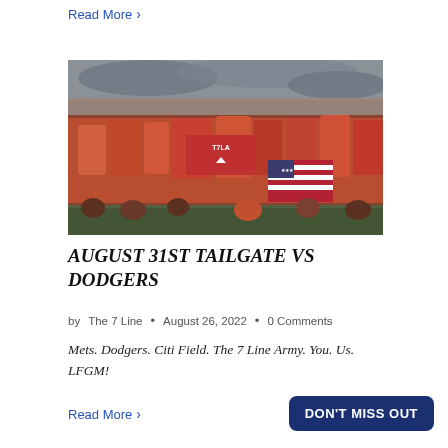Read More >
[Figure (photo): Large group of Mets fans in orange jerseys and T7LA gear, holding flags including an American flag and T7LA banner, gathered outdoors with cloudy sky in background.]
AUGUST 31ST TAILGATE VS DODGERS
by The 7 Line • August 26, 2022 • 0 Comments
Mets. Dodgers. Citi Field. The 7 Line Army. You. Us. LFGM!
Read More >
DON'T MISS OUT